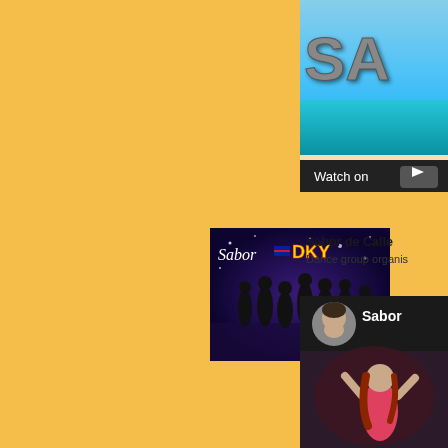[Figure (screenshot): Partial YouTube video thumbnail top right showing letters 'SA' in metallic style over a beach/ocean background with a 'Watch on YouTube' button overlay at bottom]
[Figure (photo): Sabor de Calle DKY dance group promo image: group of dancers in black on a purple starry stage background with 'Sabor DKY' text]
Sabor de Calle
Dance group organis
[Figure (screenshot): Partial YouTube video thumbnail bottom right showing a man's circular profile photo next to 'Sabor' text, with a woman dancing in pink in the background]